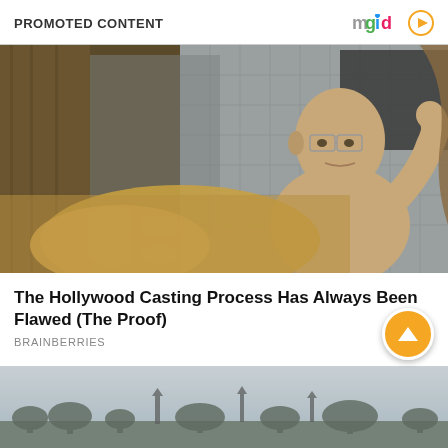PROMOTED CONTENT
[Figure (photo): A bald older man without a shirt, wearing glasses, looking in a bathroom mirror. A blurred foreground hand is visible. The scene is dimly lit with tile walls and glass jars in the background.]
The Hollywood Casting Process Has Always Been Flawed (The Proof)
BRAINBERRIES
[Figure (photo): A hazy cityscape panorama with a flat skyline featuring church spires and trees against a grey-blue overcast sky.]